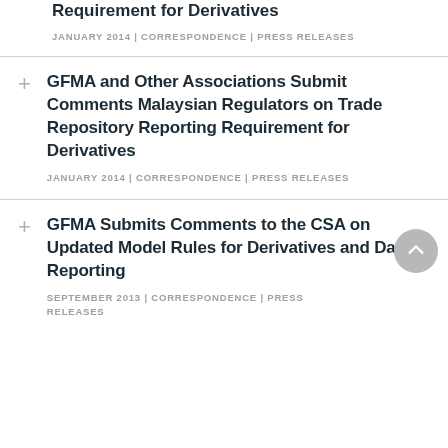Requirement for Derivatives
JANUARY 2014 | CORRESPONDENCE | PRESS RELEASES
GFMA and Other Associations Submit Comments Malaysian Regulators on Trade Repository Reporting Requirement for Derivatives
JANUARY 2014 | CORRESPONDENCE | PRESS RELEASES
GFMA Submits Comments to the CSA on Updated Model Rules for Derivatives and Data Reporting
SEPTEMBER 2013 | CORRESPONDENCE | PRESS RELEASES